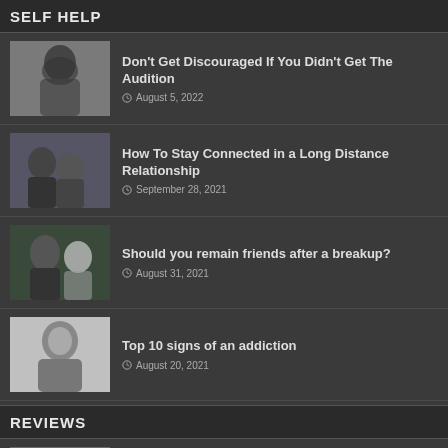SELF HELP
Don't Get Discouraged If You Didn't Get The Audition — August 5, 2022
How To Stay Connected in a Long Distance Relationship — September 28, 2021
Should you remain friends after a breakup? — August 31, 2021
Top 10 signs of an addiction — August 20, 2021
REVIEWS
Review: The Real Housewives...